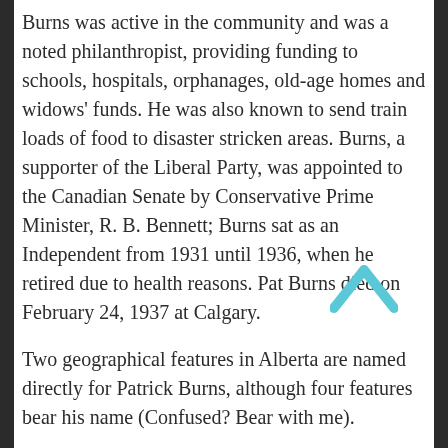Burns was active in the community and was a noted philanthropist, providing funding to schools, hospitals, orphanages, old-age homes and widows' funds. He was also known to send train loads of food to disaster stricken areas. Burns, a supporter of the Liberal Party, was appointed to the Canadian Senate by Conservative Prime Minister, R. B. Bennett; Burns sat as an Independent from 1931 until 1936, when he retired due to health reasons. Pat Burns died on February 24, 1937 at Calgary.
Two geographical features in Alberta are named directly for Patrick Burns, although four features bear his name (Confused? Bear with me).
Mount Burns